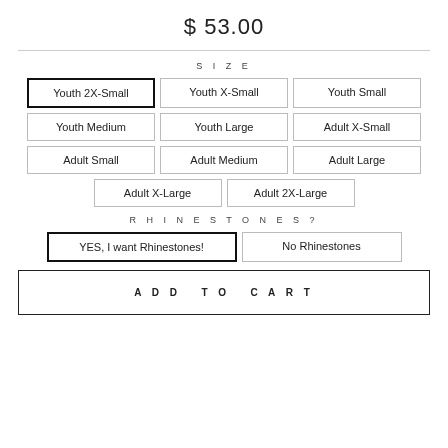$ 53.00
SIZE
Youth 2X-Small (selected)
Youth X-Small
Youth Small
Youth Medium
Youth Large
Adult X-Small
Adult Small
Adult Medium
Adult Large
Adult X-Large
Adult 2X-Large
RHINESTONES?
YES, I want Rhinestones! (selected)
No Rhinestones
ADD TO CART